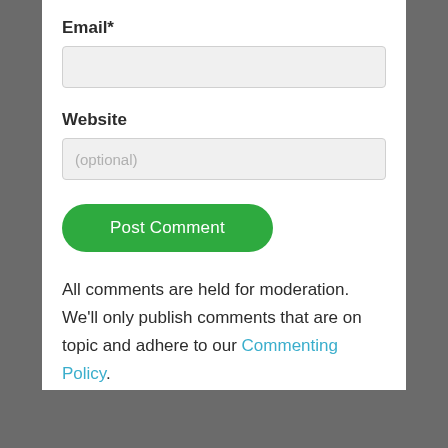Email*
[Figure (screenshot): Empty text input field for email]
Website
[Figure (screenshot): Text input field for website with placeholder text (optional)]
[Figure (screenshot): Green rounded Post Comment button]
All comments are held for moderation. We'll only publish comments that are on topic and adhere to our Commenting Policy.